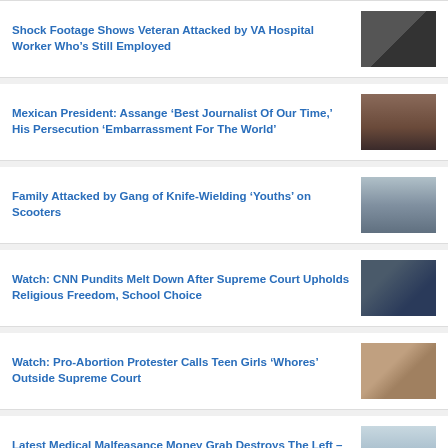Shock Footage Shows Veteran Attacked by VA Hospital Worker Who’s Still Employed
Mexican President: Assange ‘Best Journalist Of Our Time,’ His Persecution ‘Embarrassment For The World’
Family Attacked by Gang of Knife-Wielding ‘Youths’ on Scooters
Watch: CNN Pundits Melt Down After Supreme Court Upholds Religious Freedom, School Choice
Watch: Pro-Abortion Protester Calls Teen Girls ‘Whores’ Outside Supreme Court
Latest Medical Malfeasance Money Grab Destroys The Left – Watch LIVE
David Icke Warning From 1998 Has Come To Pass